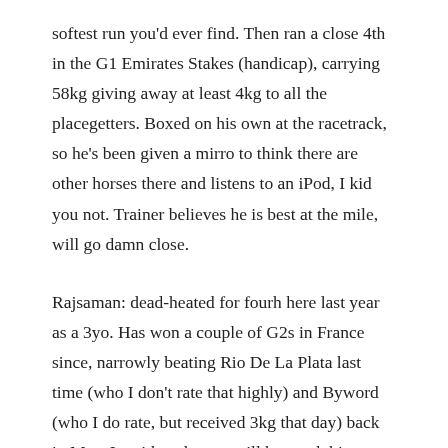softest run you'd ever find. Then ran a close 4th in the G1 Emirates Stakes (handicap), carrying 58kg giving away at least 4kg to all the placegetters. Boxed on his own at the racetrack, so he's been given a mirro to think there are other horses there and listens to an iPod, I kid you not. Trainer believes he is best at the mile, will go damn close.
Rajsaman: dead-heated for fourh here last year as a 3yo. Has won a couple of G2s in France since, narrowly beating Rio De La Plata last time (who I don't rate that highly) and Byword (who I do rate, but received 3kg that day) back in May. In with a chance, will be much bigger odds with Aussie bookies than in the UK.
Beauty Flash: won this race last year. Best when he gets an easy lead, and doesn't appear to be much pace in this